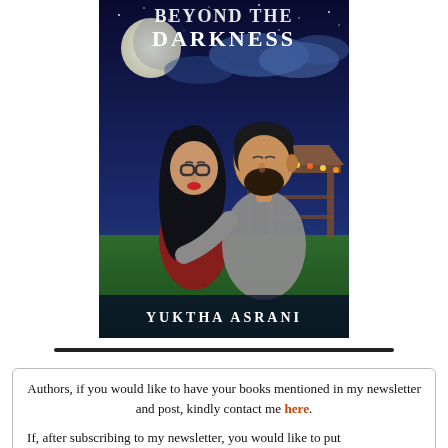[Figure (illustration): Book cover for 'Beyond the Darkness' by Yuktha Asrani. Dark night sky with moon and clouds, a couple about to kiss — woman with glasses and dark hair, man with beard — with a lit gazebo in background. Title text at top, author name at bottom.]
Authors, if you would like to have your books mentioned in my newsletter and post, kindly contact me here.
If, after subscribing to my newsletter, you would like to put